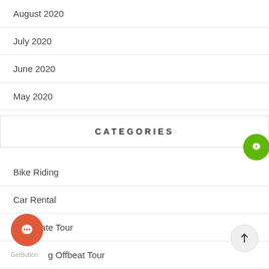August 2020
July 2020
June 2020
May 2020
CATEGORIES
Bike Riding
Car Rental
Corporate Tour
Darjeeling Offbeat Tour
Darjeeling Tour Packages